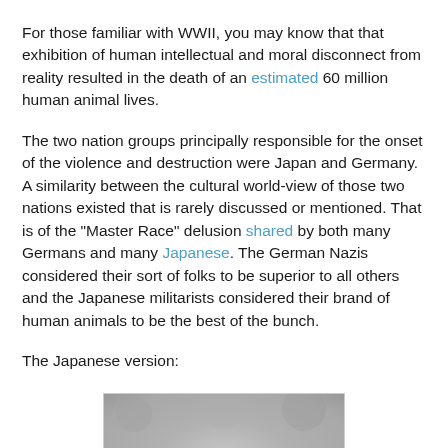For those familiar with WWII, you may know that that exhibition of human intellectual and moral disconnect from reality resulted in the death of an estimated 60 million human animal lives.
The two nation groups principally responsible for the onset of the violence and destruction were Japan and Germany. A similarity between the cultural world-view of those two nations existed that is rarely discussed or mentioned. That is of the "Master Race" delusion shared by both many Germans and many Japanese. The German Nazis considered their sort of folks to be superior to all others and the Japanese militarists considered their brand of human animals to be the best of the bunch.
The Japanese version:
[Figure (photo): A black and white photograph showing the top of a person's head/face from above, with a rounded head shape visible against a textured grey background.]